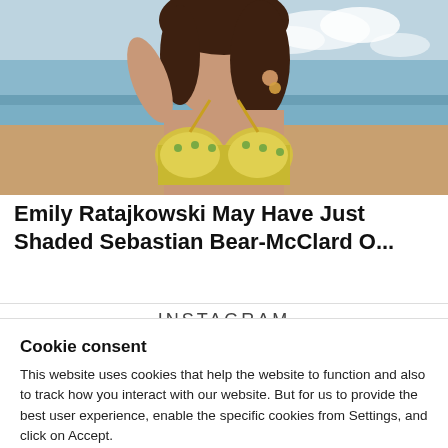[Figure (photo): Photo of a woman in a yellow jeweled bikini top at the beach, hand raised to hair, ocean and sky in background]
Emily Ratajkowski May Have Just Shaded Sebastian Bear-McClard O...
INSTAGRAM
Cookie consent
This website uses cookies that help the website to function and also to track how you interact with our website. But for us to provide the best user experience, enable the specific cookies from Settings, and click on Accept.
Preferences   Accept All